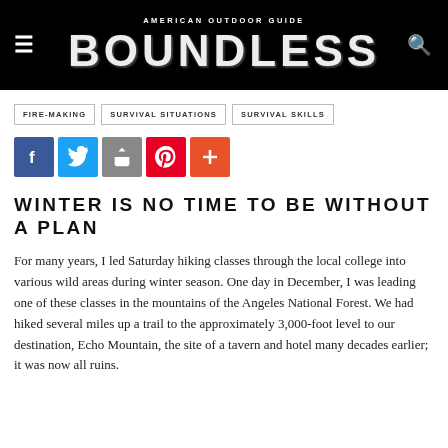AMERICAN OUTDOOR GUIDE BOUNDLESS
FIRE-MAKING
SURVIVAL SITUATIONS
SURVIVAL SKILLS
[Figure (infographic): Social share icons: Facebook, Twitter, Share, Pinterest, More]
WINTER IS NO TIME TO BE WITHOUT A PLAN
For many years, I led Saturday hiking classes through the local college into various wild areas during winter season. One day in December, I was leading one of these classes in the mountains of the Angeles National Forest. We had hiked several miles up a trail to the approximately 3,000-foot level to our destination, Echo Mountain, the site of a tavern and hotel many decades earlier; it was now all ruins.